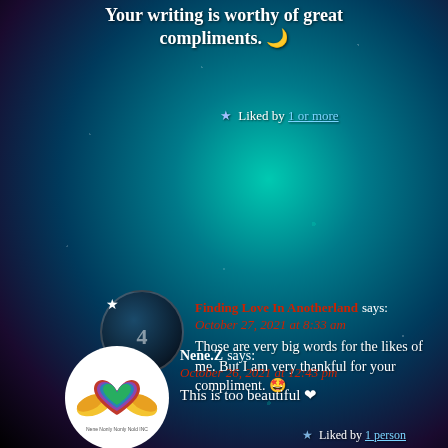Your writing is worthy of great compliments. 🌙
★ Liked by 1 or more
[Figure (photo): Dark circular avatar with star icon and number]
Finding Love In Anotherland says: October 27, 2021 at 8:33 am Those are very big words for the likes of me. But I am very thankful for your compliment. 🤩
Liked by 1 person
[Figure (logo): Circular white avatar with colorful heart and wings logo]
Nene.Z says: October 26, 2021 at 12:43 pm This is too beautiful ❤